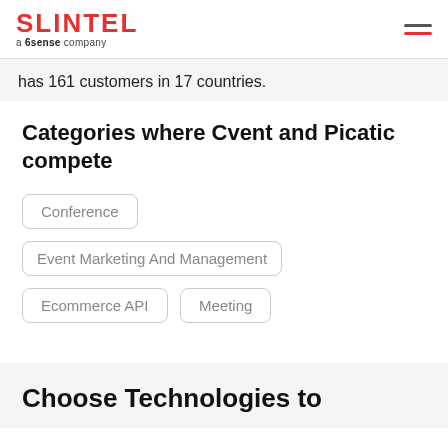SLINTEL a 6sense company
has 161 customers in 17 countries.
Categories where Cvent and Picatic compete
Conference
Event Marketing And Management
Ecommerce API
Meeting
Choose Technologies to